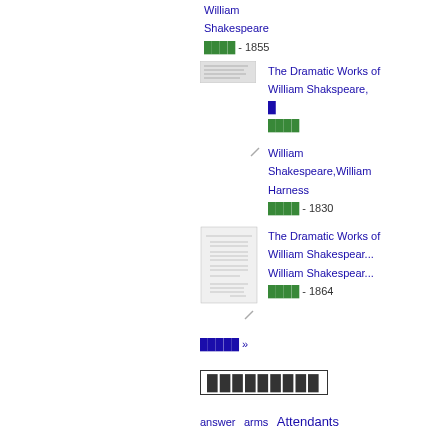William Shakespeare ████ - 1855
The Dramatic Works of William Shakspeare, █
William Shakespeare,William Harness ████ - 1830
The Dramatic Works of William Shakespeare William Shakespeare ████ - 1864
█████ »
█████████
answer  arms  Attendants  bear  better  blood